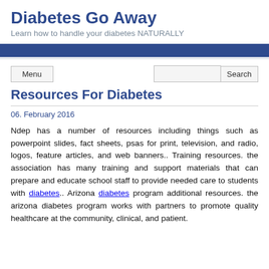Diabetes Go Away
Learn how to handle your diabetes NATURALLY
Menu
Search
Resources For Diabetes
06. February 2016
Ndep has a number of resources including things such as powerpoint slides, fact sheets, psas for print, television, and radio, logos, feature articles, and web banners.. Training resources. the association has many training and support materials that can prepare and educate school staff to provide needed care to students with diabetes.. Arizona diabetes program additional resources. the arizona diabetes program works with partners to promote quality healthcare at the community, clinical, and patient.